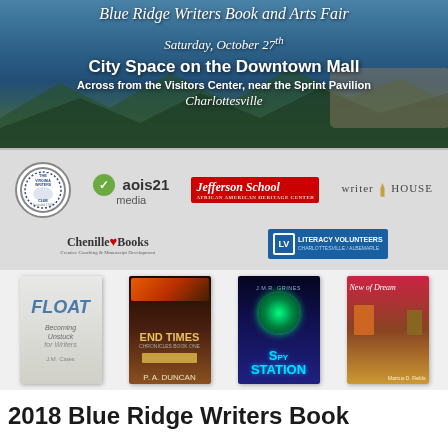[Figure (illustration): Blue Ridge Writers Book and Arts Fair banner with mountain landscape background. Text: Blue Ridge Writers Book and Arts Fair, Saturday October 27th, City Space on the Downtown Mall, Across from the Visitors Center near the Sprint Pavilion, Charlottesville. Below: sponsor logos including The Virginia Writers Club, aois21 media, Jefferson School African American Heritage Center, writer house, Chenille Books, Literacy Volunteers Charlottesville/Albemarle.]
[Figure (illustration): Four book covers: FLOAT (Becoming Unstuck for Writers), END TIMES by P.A. Duncan, SPY STATION by J.M.R. Grines, and New of Dream.]
2018 Blue Ridge Writers Book